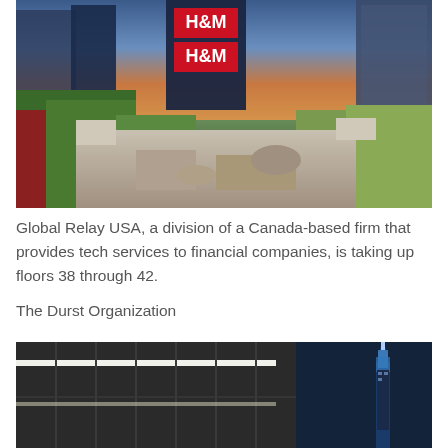[Figure (photo): Rooftop terrace of a high-rise building with lush plantings, seating areas, paved walkway, and city skyline at dusk with H&M signage visible on a skyscraper]
Global Relay USA, a division of a Canada-based firm that provides tech services to financial companies, is taking up floors 38 through 42.
The Durst Organization
[Figure (photo): Night view of a modern glass building exterior with illuminated ceiling and the lit Empire State Building visible in the background against a deep blue sky]